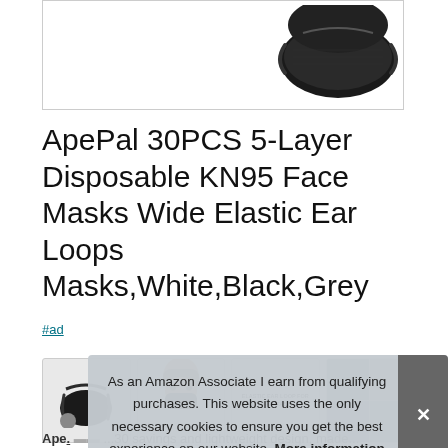[Figure (photo): Product image of a black KN95 face mask against white background, partially visible at top of page inside a bordered container]
ApePal 30PCS 5-Layer Disposable KN95 Face Masks Wide Elastic Ear Loops Masks,White,Black,Grey
#ad
[Figure (photo): Row of four product thumbnail images: black mask, person wearing mask, elastic ear loop text graphic, and product collage photo]
As an Amazon Associate I earn from qualifying purchases. This website uses the only necessary cookies to ensure you get the best experience on our website. More information
Ape. [partially obscured] ...30 savings and lightweight design, made...